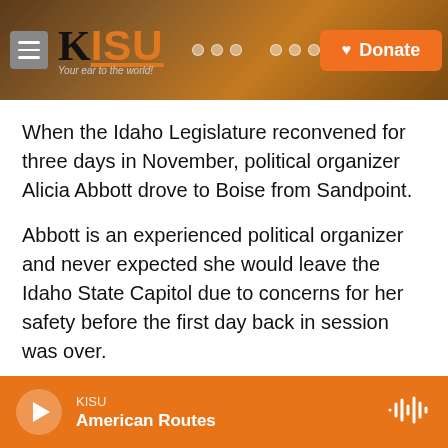KISU — Your ear to the world! [Donate]
When the Idaho Legislature reconvened for three days in November, political organizer Alicia Abbott drove to Boise from Sandpoint.
Abbott is an experienced political organizer and never expected she would leave the Idaho State Capitol due to concerns for her safety before the first day back in session was over.
Abbott has been coming to the Statehouse for about the past six years. She's worked as a field organizer with the Idaho 97 Project, a new group that recently formed an LLC to fight extremism in
KISU | American Routes